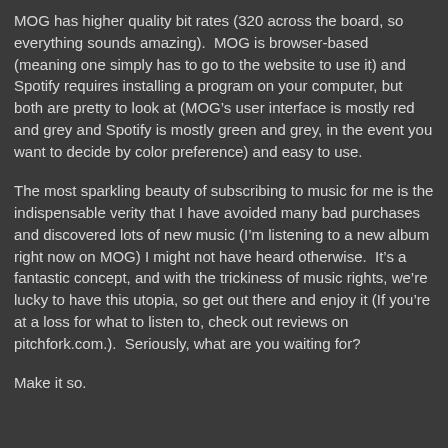MOG has higher quality bit rates (320 across the board, so everything sounds amazing).  MOG is browser-based (meaning one simply has to go to the website to use it) and Spotify requires installing a program on your computer, but both are pretty to look at (MOG’s user interface is mostly red and grey and Spotify is mostly green and grey, in the event you want to decide by color preference) and easy to use.
The most sparkling beauty of subscribing to music for me is the indispensable verity that I have avoided many bad purchases and discovered lots of new music (I’m listening to a new album right now on MOG) I might not have heard otherwise.  It’s a fantastic concept, and with the trickiness of music rights, we’re lucky to have this utopia, so get out there and enjoy it (If you’re at a loss for what to listen to, check out reviews on pitchfork.com.).  Seriously, what are you waiting for?
Make it so.